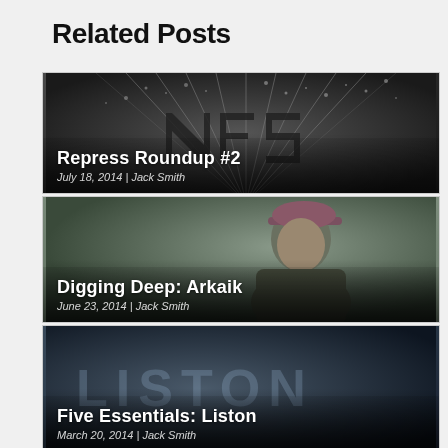Related Posts
[Figure (photo): Dark graphic image with sunburst rays and stylized text, for blog post 'Repress Roundup #2']
Repress Roundup #2
July 18, 2014 | Jack Smith
[Figure (photo): Muted green-toned photo of a man wearing a cap, for blog post 'Digging Deep: Arkaik']
Digging Deep: Arkaik
June 23, 2014 | Jack Smith
[Figure (photo): Dark blue-toned image with large faded LISTON text, for blog post 'Five Essentials: Liston']
Five Essentials: Liston
March 20, 2014 | Jack Smith
[Figure (photo): Partial view of a fourth related post card, light gray toned image]